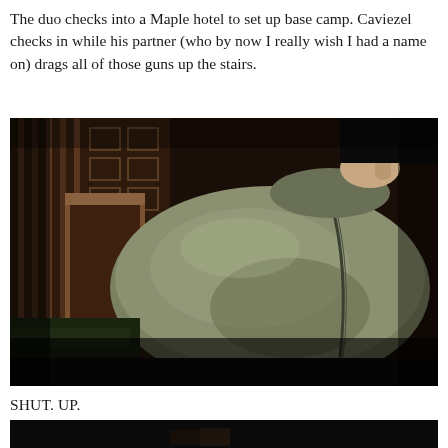The duo checks into a Maple hotel to set up base camp. Caviezel checks in while his partner (who by now I really wish I had a name on) drags all of those guns up the stairs.
[Figure (screenshot): Dark movie screenshot showing a large olive/khaki duffel bag being carried up stairs in a dimly lit hotel or building interior. The background shows ornate wooden railings and dark patterned furniture.]
SHUT. UP.
[Figure (screenshot): Partial dark movie screenshot, mostly black with a small portion of an image visible at the bottom edge of the page.]